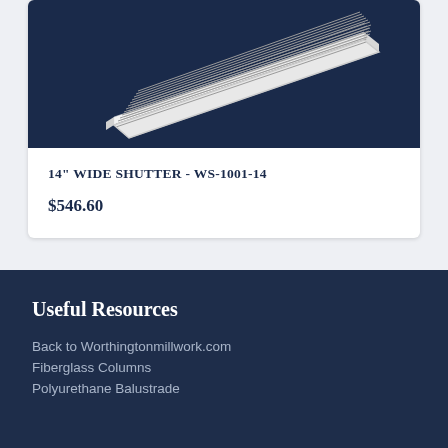[Figure (photo): A white 14-inch wide louvered shutter product displayed at an angle on a dark navy blue background]
14" WIDE SHUTTER - WS-1001-14
$546.60
Useful Resources
Back to Worthingtonmillwork.com
Fiberglass Columns
Polyurethane Balustrade